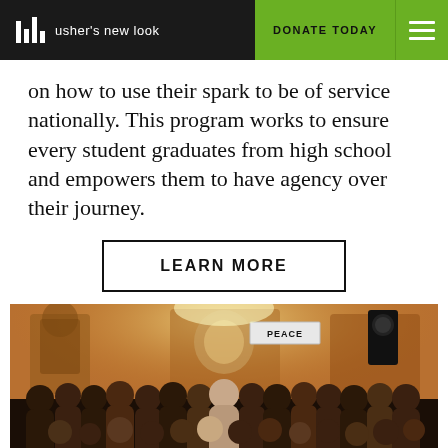usher's new look | DONATE TODAY
on how to use their spark to be of service nationally. This program works to ensure every student graduates from high school and empowers them to have agency over their journey.
LEARN MORE
[Figure (photo): Group photo of students and staff in front of a mural wall with civil rights imagery and a PEACE banner]